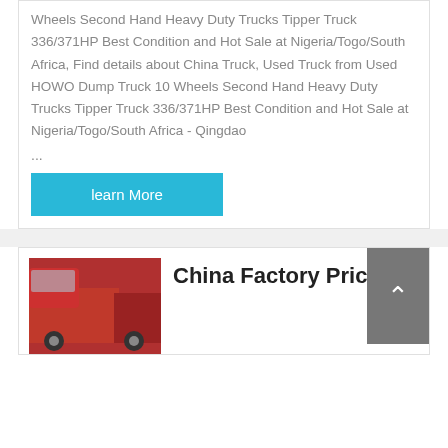Wheels Second Hand Heavy Duty Trucks Tipper Truck 336/371HP Best Condition and Hot Sale at Nigeria/Togo/South Africa, Find details about China Truck, Used Truck from Used HOWO Dump Truck 10 Wheels Second Hand Heavy Duty Trucks Tipper Truck 336/371HP Best Condition and Hot Sale at Nigeria/Togo/South Africa - Qingdao ...
learn More
[Figure (photo): Photo of red heavy duty trucks/tipper trucks partially visible]
China Factory Price